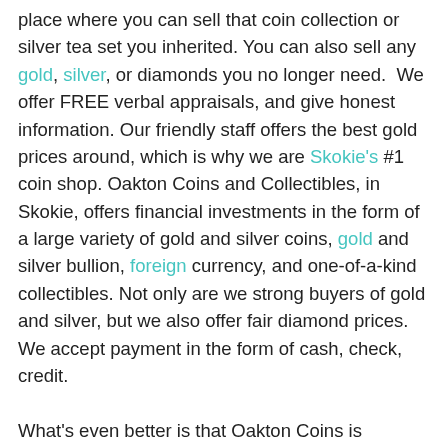place where you can sell that coin collection or silver tea set you inherited. You can also sell any gold, silver, or diamonds you no longer need. We offer FREE verbal appraisals, and give honest information. Our friendly staff offers the best gold prices around, which is why we are Skokie's #1 coin shop. Oakton Coins and Collectibles, in Skokie, offers financial investments in the form of a large variety of gold and silver coins, gold and silver bullion, foreign currency, and one-of-a-kind collectibles. Not only are we strong buyers of gold and silver, but we also offer fair diamond prices. We accept payment in the form of cash, check, credit.

What's even better is that Oakton Coins is